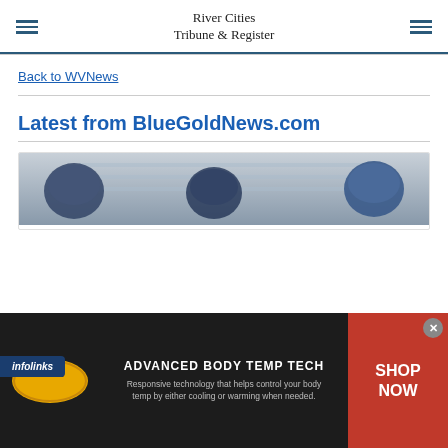River Cities Tribune & Register
Back to WVNews
Latest from BlueGoldNews.com
[Figure (photo): Sports photo showing athletes with blue helmets, partially visible]
This website uses cookies to enhance user experience and to analyze performance and traffic on our website.
[Figure (infographic): Dickies advertisement banner: ADVANCED BODY TEMP TECH - Responsive technology that helps control your body temp by either cooling or warming when needed. SHOP NOW]